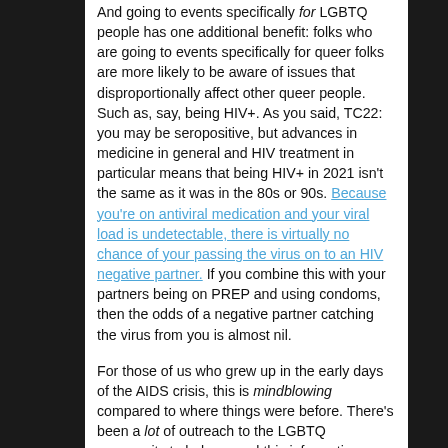And going to events specifically for LGBTQ people has one additional benefit: folks who are going to events specifically for queer folks are more likely to be aware of issues that disproportionally affect other queer people. Such as, say, being HIV+. As you said, TC22: you may be seropositive, but advances in medicine in general and HIV treatment in particular means that being HIV+ in 2021 isn't the same as it was in the 80s or 90s. Because you're on antiviral medication and your viral load is undetectable, there is virtually no chance of your passing the virus on to an HIV negative partner. If you combine this with your partners being on PREP and using condoms, then the odds of a negative partner catching the virus from you is almost nil.

For those of us who grew up in the early days of the AIDS crisis, this is mindblowing compared to where things were before. There's been a lot of outreach to the LGBTQ community to help spread this information, especially considering how disproportionately HIV affects men who sleep with men. Folks who are active within the community